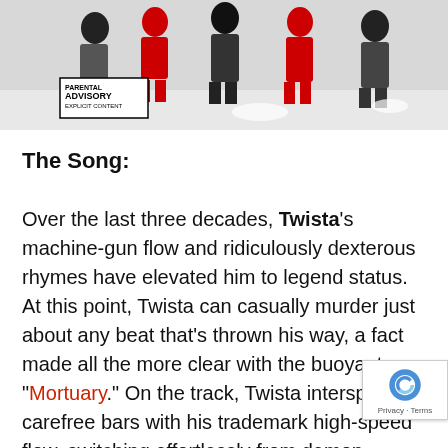[Figure (illustration): Album cover art showing illustrated figures/people in black, white and red colors with a Parental Advisory Explicit Content label in the lower left corner]
The Song:
Over the last three decades, Twista's machine-gun flow and ridiculously dexterous rhymes have elevated him to legend status. At this point, Twista can casually murder just about any beat that's thrown his way, a fact made all the more clear with the buoyant “Mortuary.” On the track, Twista intersperses carefree bars with his trademark high-speed flow, switching effortlessly from demon spitfire to “hop out the Phantom in my pajama the gas station.” In addition, Vic Spencer bring A-game with an excellent guest verse, riding over